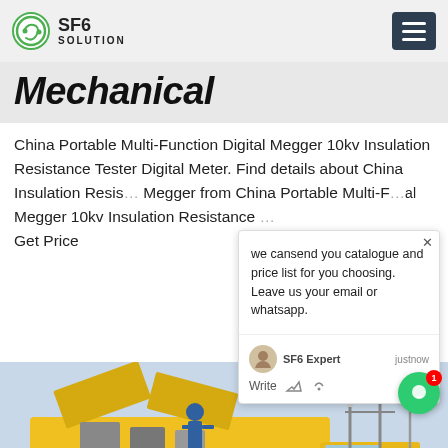SF6 SOLUTION
Mechanical
China Portable Multi-Function Digital Megger 10kv Insulation Resistance Tester Digital Meter. Find details about China Insulation Resistance, Megger from China Portable Multi-Function Digital Megger 10kv Insulation Resistance ... Get Price
[Figure (photo): Yellow service truck/van with open compartments and a worker in blue workwear at an electrical substation]
we cansend you catalogue and price list for you choosing.
Leave us your email or whatsapp.

SF6 Expert   justnow
Write